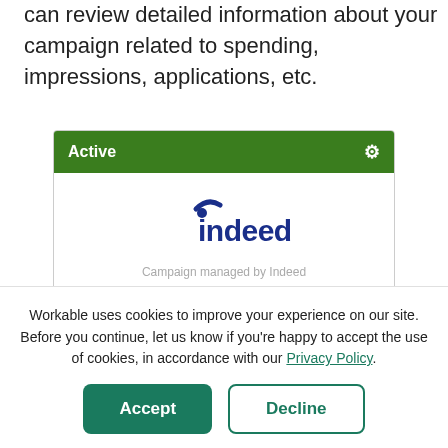can review detailed information about your campaign related to spending, impressions, applications, etc.
[Figure (screenshot): Indeed campaign card UI showing green 'Active' header with gear icon and the Indeed logo in a white card area, with partially visible text 'Campaign managed by Indeed']
Workable uses cookies to improve your experience on our site. Before you continue, let us know if you're happy to accept the use of cookies, in accordance with our Privacy Policy.
Accept
Decline